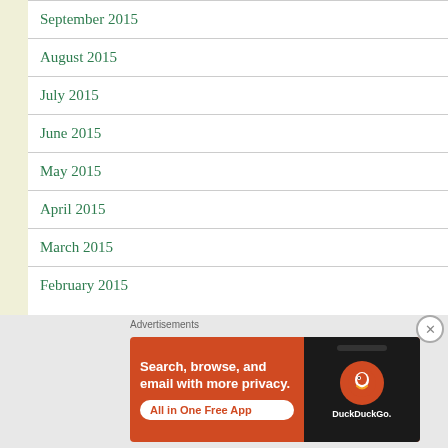September 2015
August 2015
July 2015
June 2015
May 2015
April 2015
March 2015
February 2015
[Figure (other): DuckDuckGo advertisement banner: orange background with text 'Search, browse, and email with more privacy. All in One Free App' with a phone image showing the DuckDuckGo logo]